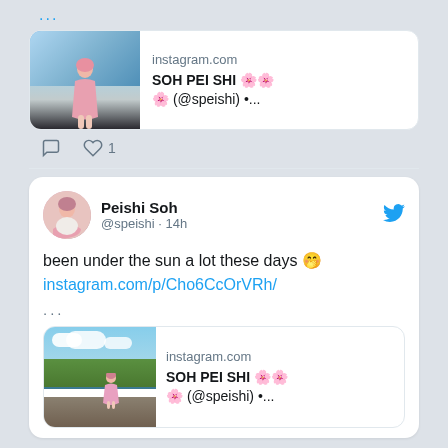...
[Figure (screenshot): Instagram link preview showing a girl in pink dress with instagram.com domain and text 'SOH PEI SHI 🌸 (@speishi) •...']
♡ 1
Peishi Soh @speishi · 14h
been under the sun a lot these days 🤭 instagram.com/p/Cho6CcOrVRh/
...
[Figure (screenshot): Instagram link preview showing outdoor nature scene with instagram.com domain and text 'SOH PEI SHI 🌸 (@speishi) •...']